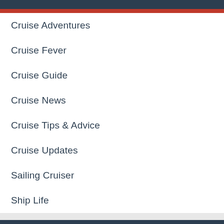Cruise Adventures
Cruise Fever
Cruise Guide
Cruise News
Cruise Tips & Advice
Cruise Updates
Sailing Cruiser
Ship Life
Archives
September 2022